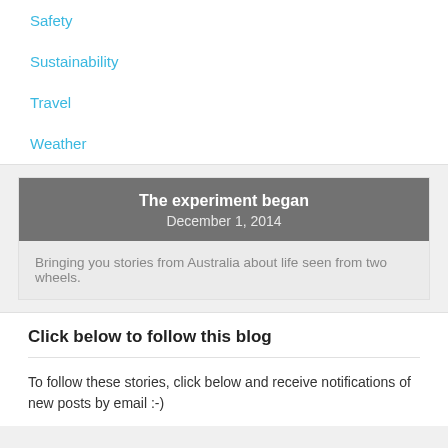Safety
Sustainability
Travel
Weather
The experiment began
December 1, 2014
Bringing you stories from Australia about life seen from two wheels.
Click below to follow this blog
To follow these stories, click below and receive notifications of new posts by email :-)